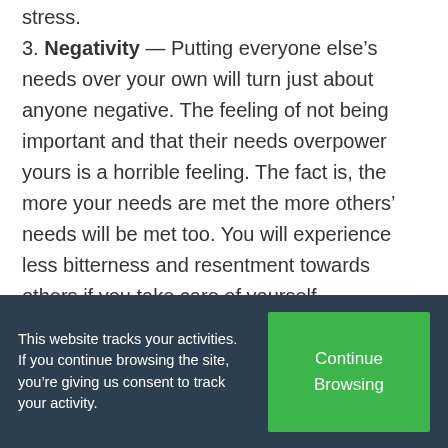stress.
3. Negativity — Putting everyone else's needs over your own will turn just about anyone negative. The feeling of not being important and that their needs overpower yours is a horrible feeling. The fact is, the more your needs are met the more others' needs will be met too. You will experience less bitterness and resentment towards others if you take care of yourself.
This website tracks your activities. If you continue browsing the site, you're giving us consent to track your activity.
Continue Browsing